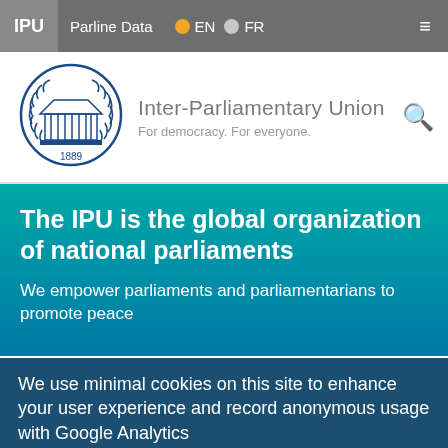IPU  Parline Data  EN  FR
[Figure (logo): Inter-Parliamentary Union seal/crest with building and laurel wreath, 1889]
Inter-Parliamentary Union
For democracy. For everyone.
The IPU is the global organization of national parliaments
We empower parliaments and parliamentarians to promote peace
We use minimal cookies on this site to enhance your user experience and record anonymous usage with Google Analytics
By continuing to use the site, you agree to us doing so. Clicking the Accept button will remove this message. More on our policies